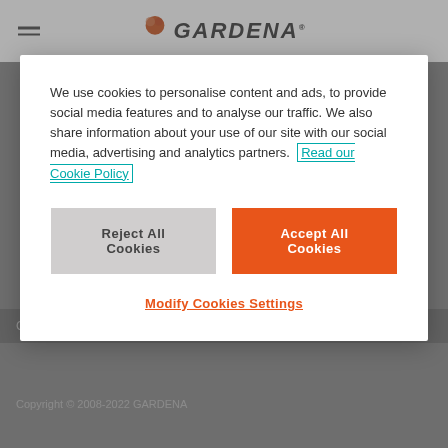[Figure (screenshot): GARDENA website header with logo and hamburger menu icon]
We use cookies to personalise content and ads, to provide social media features and to analyse our traffic. We also share information about your use of our site with our social media, advertising and analytics partners. Read our Cookie Policy
Reject All Cookies
Accept All Cookies
Modify Cookies Settings
Contact | Report Suspected Violations | Sitemap
Copyright © 2008-2022 GARDENA